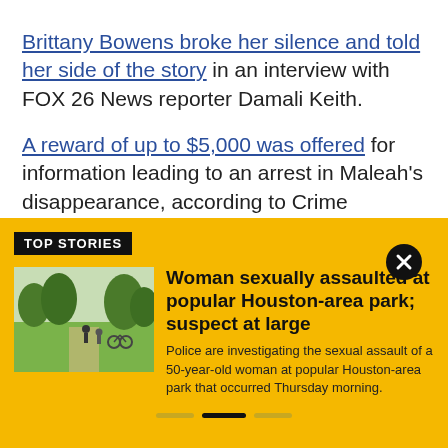Brittany Bowens broke her silence and told her side of the story in an interview with FOX 26 News reporter Damali Keith.
A reward of up to $5,000 was offered for information leading to an arrest in Maleah's disappearance, according to Crime Stoppers.
TOP STORIES
[Figure (photo): A park scene with people walking and green trees]
Woman sexually assaulted at popular Houston-area park; suspect at large
Police are investigating the sexual assault of a 50-year-old woman at popular Houston-area park that occurred Thursday morning.